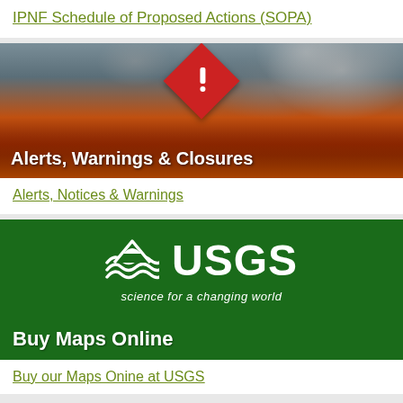IPNF Schedule of Proposed Actions (SOPA)
[Figure (photo): Volcanic eruption with smoke and fire, overlaid with a red diamond warning sign and text 'Alerts, Warnings & Closures']
Alerts, Notices & Warnings
[Figure (logo): USGS logo with waves symbol and tagline 'science for a changing world', on green background, with text 'Buy Maps Online']
Buy our Maps Onine at USGS